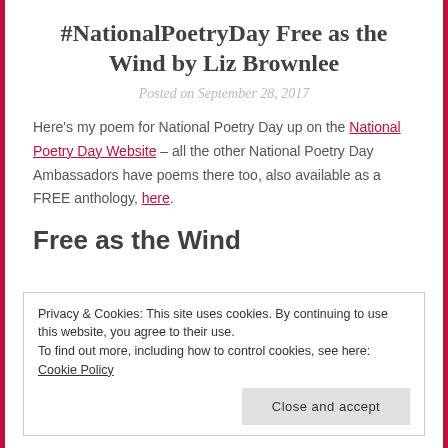#NationalPoetryDay Free as the Wind by Liz Brownlee
Posted on September 28, 2017
Here's my poem for National Poetry Day up on the National Poetry Day Website – all the other National Poetry Day Ambassadors have poems there too, also available as a FREE anthology, here.
Free as the Wind
Privacy & Cookies: This site uses cookies. By continuing to use this website, you agree to their use.
To find out more, including how to control cookies, see here: Cookie Policy
Close and accept